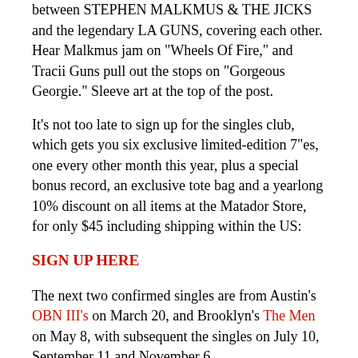between STEPHEN MALKMUS & THE JICKS and the legendary LA GUNS, covering each other. Hear Malkmus jam on "Wheels Of Fire," and Tracii Guns pull out the stops on "Gorgeous Georgie." Sleeve art at the top of the post.
It's not too late to sign up for the singles club, which gets you six exclusive limited-edition 7"es, one every other month this year, plus a special bonus record, an exclusive tote bag and a yearlong 10% discount on all items at the Matador Store, for only $45 including shipping within the US:
SIGN UP HERE
The next two confirmed singles are from Austin's OBN III's on March 20, and Brooklyn's The Men on May 8, with subsequent the singles on July 10, September 11 and November 6.
Other upcoming Matador and True Panther releases:
Feb 7 - Fucked Up - Year Of The Tiger
Feb 21 - Perfume Genius - Put Your Back N 2 It
Mar 6 - Ceremony - Zoo